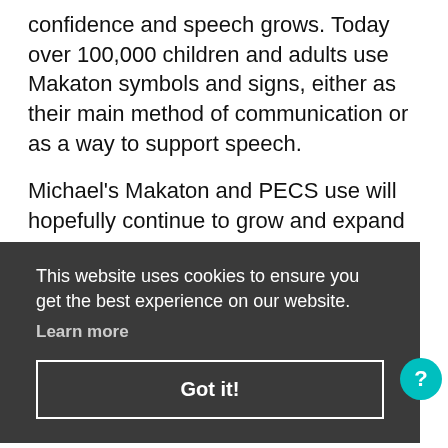confidence and speech grows. Today over 100,000 children and adults use Makaton symbols and signs, either as their main method of communication or as a way to support speech.
Michael's Makaton and PECS use will hopefully continue to grow and expand in the future – we are busy practising using an iPad mini with Makaton's MyChoicePad at the moment, so his PECS continues
with the help of technology. Michael, who has be-
This website uses cookies to ensure you get the best experience on our website. Learn more
Got it!
on this... and we have already added comments
Michael already partly participates